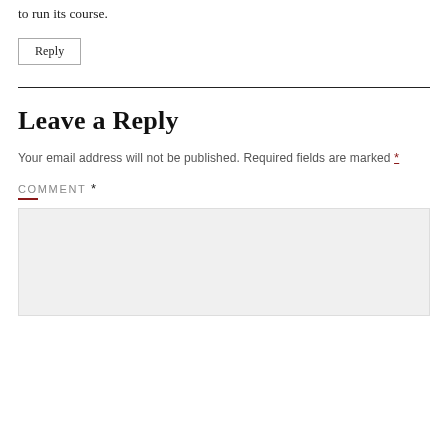to run its course.
Reply
Leave a Reply
Your email address will not be published. Required fields are marked *
COMMENT *
[Figure (other): Comment text area input field with light gray background]